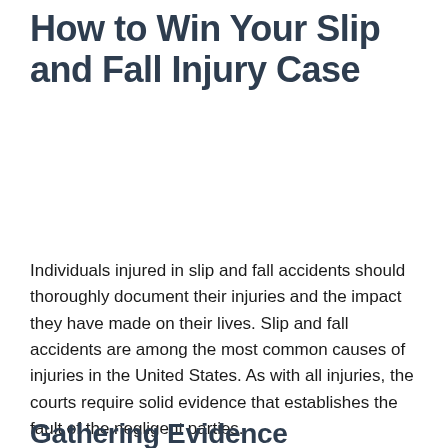How to Win Your Slip and Fall Injury Case
Individuals injured in slip and fall accidents should thoroughly document their injuries and the impact they have made on their lives. Slip and fall accidents are among the most common causes of injuries in the United States. As with all injuries, the courts require solid evidence that establishes the fault of the negligent parties.
Gathering Evidence